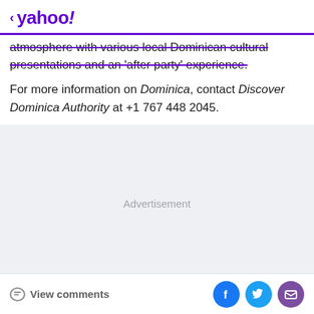< yahoo!
atmosphere with various local Dominican cultural presentations and an 'after party' experience.
For more information on Dominica, contact Discover Dominica Authority at +1 767 448 2045.
[Figure (other): Advertisement placeholder area with light grey background]
View comments | Facebook share | Twitter share | Email share